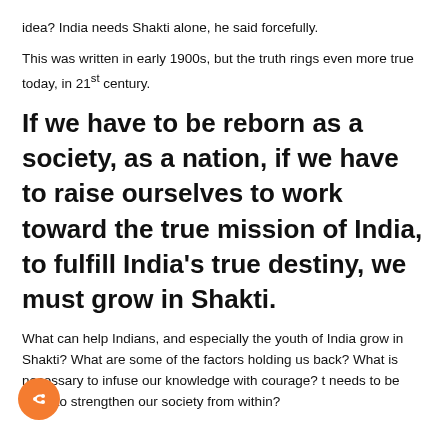idea? India needs Shakti alone, he said forcefully.
This was written in early 1900s, but the truth rings even more true today, in 21st century.
If we have to be reborn as a society, as a nation, if we have to raise ourselves to work toward the true mission of India, to fulfill India's true destiny, we must grow in Shakti.
What can help Indians, and especially the youth of India grow in Shakti? What are some of the factors holding us back? What is necessary to infuse our knowledge with courage? [w]hat needs to be done to strengthen our society from within?